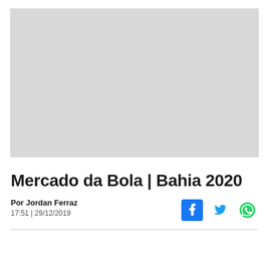[Figure (photo): Large image placeholder (light grey rectangle) occupying the top portion of the page]
Mercado da Bola | Bahia 2020
Por Jordan Ferraz
17:51 | 29/12/2019